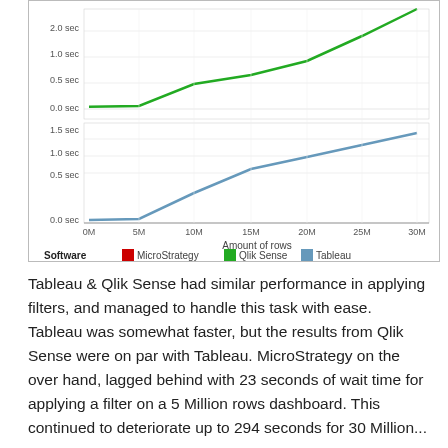[Figure (line-chart): ]
Tableau & Qlik Sense had similar performance in applying filters, and managed to handle this task with ease. Tableau was somewhat faster, but the results from Qlik Sense were on par with Tableau. MicroStrategy on the over hand, lagged behind with 23 seconds of wait time for applying a filter on a 5 Million rows dashboard. This continued to deteriorate up to 294 seconds for 30 Million...